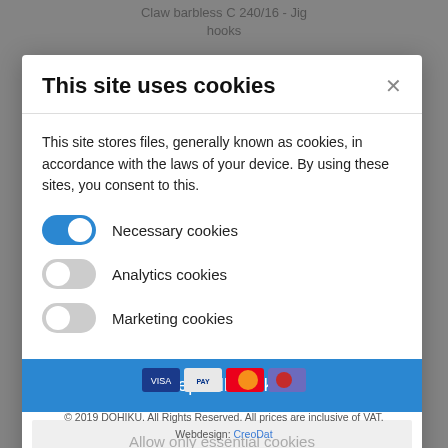Claw barbless C 240/16 - Jig hooks
This site uses cookies
This site stores files, generally known as cookies, in accordance with the laws of your device. By using these sites, you consent to this.
Necessary cookies
Analytics cookies
Marketing cookies
Accept all cookies
Allow only essential cookies
More information
[Figure (other): Payment method icons: Visa, PayPal, Mastercard, Maestro]
© 2019 DOHIKU. All Rights Reserved. All prices are inclusive of VAT. Webdesign: CreoDat